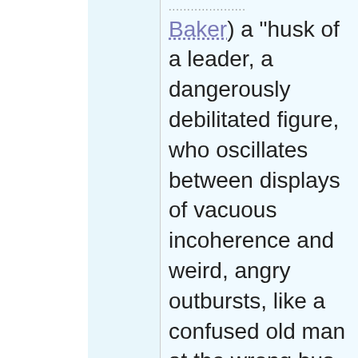Baker) a "husk of a leader, a dangerously debilitated figure, who oscillates between displays of vacuous incoherence and weird, angry outbursts, like a confused old man at the wrong bus stop."